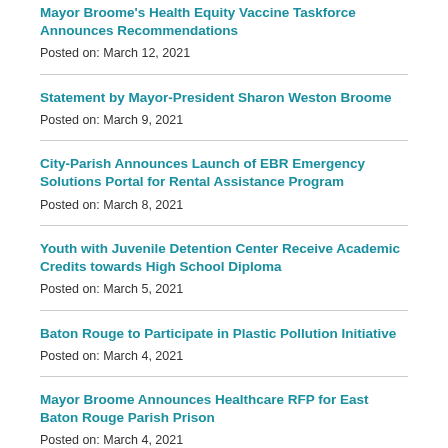Mayor Broome's Health Equity Vaccine Taskforce Announces Recommendations
Posted on: March 12, 2021
Statement by Mayor-President Sharon Weston Broome
Posted on: March 9, 2021
City-Parish Announces Launch of EBR Emergency Solutions Portal for Rental Assistance Program
Posted on: March 8, 2021
Youth with Juvenile Detention Center Receive Academic Credits towards High School Diploma
Posted on: March 5, 2021
Baton Rouge to Participate in Plastic Pollution Initiative
Posted on: March 4, 2021
Mayor Broome Announces Healthcare RFP for East Baton Rouge Parish Prison
Posted on: March 4, 2021